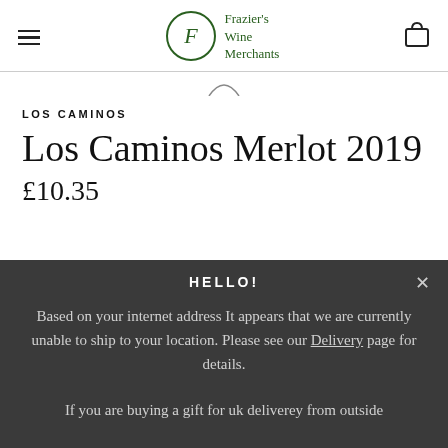Frazier's Wine Merchants
LOS CAMINOS
Los Caminos Merlot 2019
£10.35
HELLO!
Based on your internet address It appears that we are currently unable to ship to your location. Please see our Delivery page for details.
If you are buying a gift for uk deliverey from outside